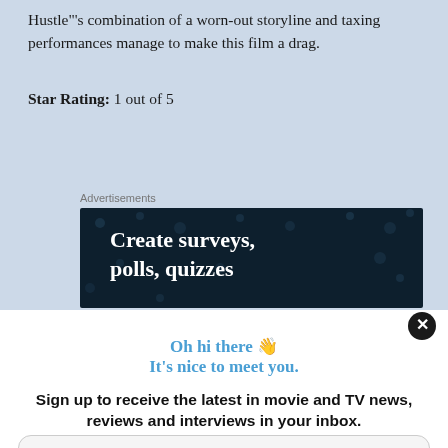Hustle"'s combination of a worn-out storyline and taxing performances manage to make this film a drag.
Star Rating: 1 out of 5
Advertisements
[Figure (screenshot): Advertisement banner with dark navy background and white text reading 'Create surveys, polls, quizzes']
Oh hi there 👋
It's nice to meet you.
Sign up to receive the latest in movie and TV news, reviews and interviews in your inbox.